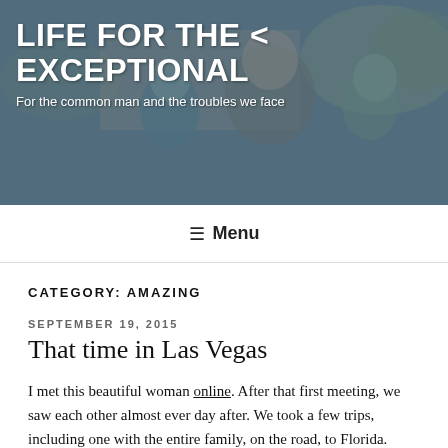[Figure (photo): Blog header banner with a family photo (man with beard and children) in muted blue-gray tones serving as background]
LIFE FOR THE < EXCEPTIONAL
For the common man and the troubles we face
≡ Menu
CATEGORY: AMAZING
SEPTEMBER 19, 2015
That time in Las Vegas
I met this beautiful woman online.  After that first meeting, we saw each other almost ever day after.  We took a few trips, including one with the entire family, on the road, to Florida.  While we were there, I knew I wanted her to be my partner always.  I asked her to marry